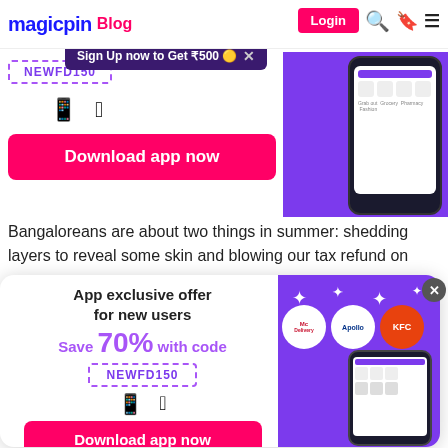magicpin Blog
[Figure (screenshot): Magicpin app promotion banner showing coupon code NEWFD150, Android and Apple icons, Download app now button, and app screenshot on purple background]
Bangaloreans are about two things in summer: shedding layers to reveal some skin and blowing our tax refund on
[Figure (infographic): App exclusive offer popup for new users: Save 70% with code NEWFD150, Download app now button, with McDelivery, Apollo, KFC logos and app screenshot on purple background]